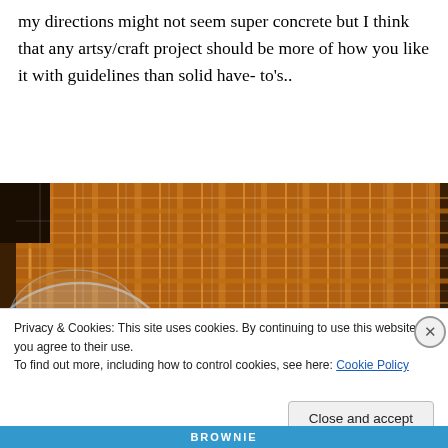my directions might not seem super concrete but I think that any artsy/craft project should be more of how you like it with guidelines than solid have- to's..
[Figure (photo): Close-up photo of brown/orange striped or plaid woven fabric/bamboo mat with a glass bowl visible at the lower left corner.]
Privacy & Cookies: This site uses cookies. By continuing to use this website, you agree to their use.
To find out more, including how to control cookies, see here: Cookie Policy
BROWNIE